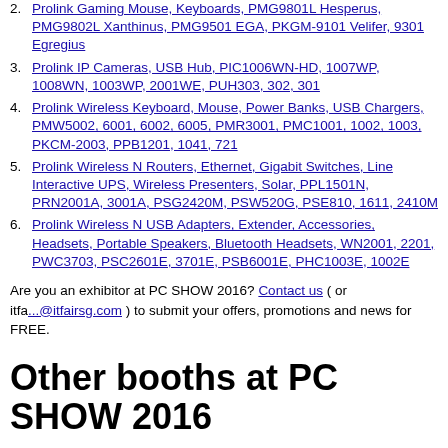2. Prolink Gaming Mouse, Keyboards, PMG9801L Hesperus, PMG9802L Xanthinus, PMG9501 EGA, PKGM-9101 Velifer, 9301 Egregius
3. Prolink IP Cameras, USB Hub, PIC1006WN-HD, 1007WP, 1008WN, 1003WP, 2001WE, PUH303, 302, 301
4. Prolink Wireless Keyboard, Mouse, Power Banks, USB Chargers, PMW5002, 6001, 6002, 6005, PMR3001, PMC1001, 1002, 1003, PKCM-2003, PPB1201, 1041, 721
5. Prolink Wireless N Routers, Ethernet, Gigabit Switches, Line Interactive UPS, Wireless Presenters, Solar, PPL1501N, PRN2001A, 3001A, PSG2420M, PSW520G, PSE810, 1611, 2410M
6. Prolink Wireless N USB Adapters, Extender, Accessories, Headsets, Portable Speakers, Bluetooth Headsets, WN2001, 2201, PWC3703, PSC2601E, 3701E, PSB6001E, PHC1003E, 1002E
Are you an exhibitor at PC SHOW 2016? Contact us ( or itfa...@itfairsg.com ) to submit your offers, promotions and news for FREE.
Other booths at PC SHOW 2016
| AC Ryan | Ace Peripherals | Acer | Aftershock | Alcom | Amconics | AOC | Arlo | ASUS | Aztech | B&O PLAY | BenQ | Best Denki | Brother | Canon | Casio | Challenger | Citibank | Creative |